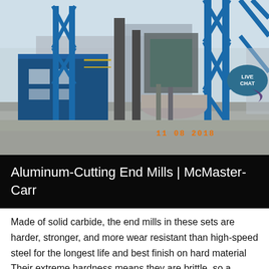[Figure (photo): Industrial facility or plant photo showing blue steel framework structures, conveyor systems, and industrial buildings. A timestamp '11 08 2018' is shown in orange in the lower right area of the photo. A 'LIVE CHAT' bubble appears in the top right corner.]
Aluminum-Cutting End Mills | McMaster-Carr
Made of solid carbide, the end mills in these sets are harder, stronger, and more wear resistant than high-speed steel for the longest life and best finish on hard material Their extreme hardness means they are brittle, so a highly rigid